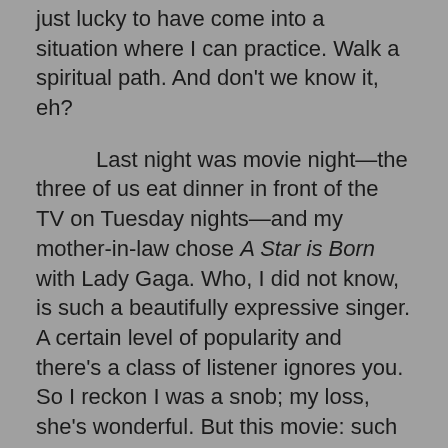just lucky to have come into a situation where I can practice.  Walk a spiritual path.  And don't we know it, eh?

Last night was movie night—the three of us eat dinner in front of the TV on Tuesday nights—and my mother-in-law chose A Star is Born with Lady Gaga.  Who, I did not know, is such a beautifully expressive singer.  A certain level of popularity and there's a class of listener ignores you.  So I reckon I was a snob; my loss, she's wonderful.  But this movie: such a sad, sad story.  A romance, and the principal male hangs himself, with his dog pawing at the driveway and crying for him as he swings from the garage ceiling.  He's just got through a residential rehab, where he'd gone